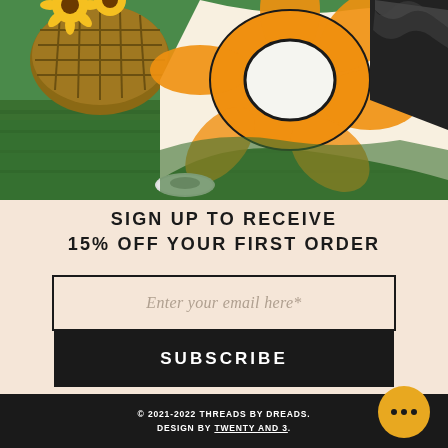[Figure (photo): Photograph of a person wearing colorful African print fabric (orange and black/white floral and geometric patterns) sitting on grass, with a wicker basket and sunflowers visible in the background.]
SIGN UP TO RECEIVE 15% OFF YOUR FIRST ORDER
Enter your email here*
SUBSCRIBE
© 2021-2022 THREADS BY DREADS. DESIGN BY TWENTY AND 3.